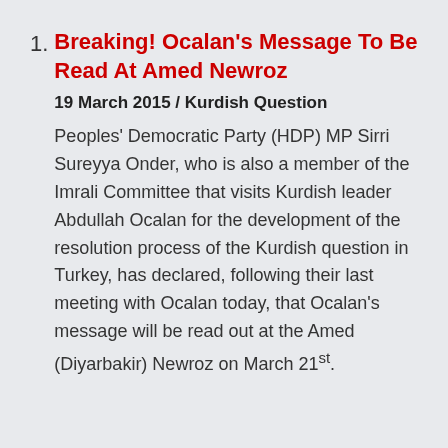Breaking! Ocalan's Message To Be Read At Amed Newroz
19 March 2015 / Kurdish Question
Peoples' Democratic Party (HDP) MP Sirri Sureyya Onder, who is also a member of the Imrali Committee that visits Kurdish leader Abdullah Ocalan for the development of the resolution process of the Kurdish question in Turkey, has declared, following their last meeting with Ocalan today, that Ocalan's message will be read out at the Amed (Diyarbakir) Newroz on March 21st.